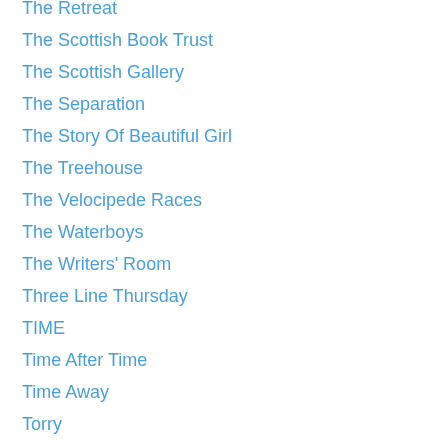The Retreat
The Scottish Book Trust
The Scottish Gallery
The Separation
The Story Of Beautiful Girl
The Treehouse
The Velocipede Races
The Waterboys
The Writers' Room
Three Line Thursday
TIME
Time After Time
Time Away
Torry
Trending On Tumblr
Tumblr
Twitartexhibit
Twitter
Umbrella Digital Media
Urban